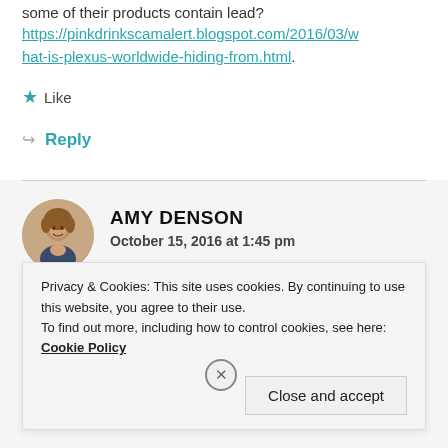some of their products contain lead? https://pinkdrinkscamalert.blogspot.com/2016/03/what-is-plexus-worldwide-hiding-from.html.
Like
Reply
AMY DENSON
October 15, 2016 at 1:45 pm
You're bored for sure.
Privacy & Cookies: This site uses cookies. By continuing to use this website, you agree to their use. To find out more, including how to control cookies, see here: Cookie Policy
Close and accept